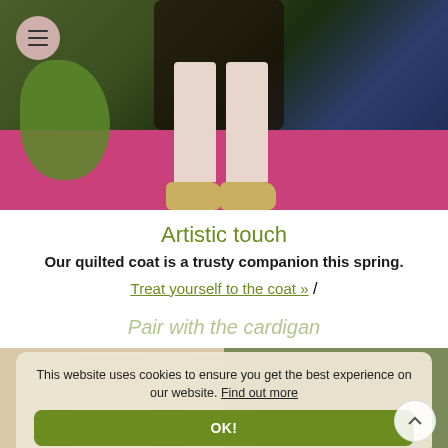[Figure (photo): Fashion photo showing lower body of a person wearing a dark floral quilted coat, blush pink wide-leg trousers, and leopard print sneakers, standing against a colorful painted backdrop with magenta floor]
Artistic touch
Our quilted coat is a trusty companion this spring.
Treat yourself to the coat » /
Pair with the cardigan
This website uses cookies to ensure you get the best experience on our website. Find out more
OK!
[Figure (photo): Two small fashion photos partially visible at the bottom of the page]
^ (back to top arrow)